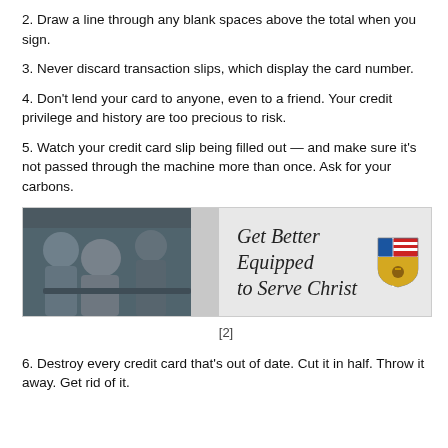2. Draw a line through any blank spaces above the total when you sign.
3. Never discard transaction slips, which display the card number.
4. Don't lend your card to anyone, even to a friend. Your credit privilege and history are too precious to risk.
5. Watch your credit card slip being filled out — and make sure it's not passed through the machine more than once. Ask for your carbons.
[Figure (infographic): Advertisement banner showing people studying on the left and text 'Get Better Equipped to Serve Christ' with a shield logo on the right.]
[2]
6. Destroy every credit card that's out of date. Cut it in half. Throw it away. Get rid of it.